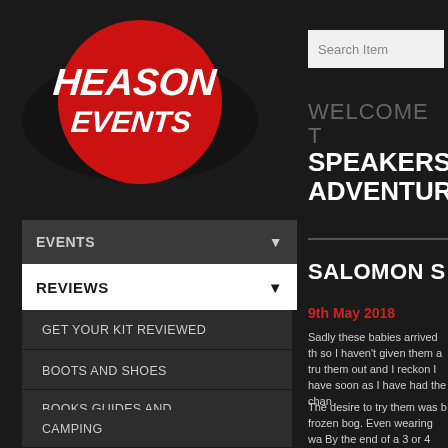[Figure (logo): Heason Events logo - red circle with white bold italic text HEASON EVENTS on dark background]
[Figure (screenshot): Search Item input box]
WELCOME T SPEAKERS, ADVENTURO
EVENTS
REVIEWS
GET YOUR KIT REVIEWED
BIKE & ROOF RACKS
BOOKS GUIDES AND MAPS
BOOTS AND SHOES
CAMPING
SALOMON S
9th May 2018
Sadly these babies arrived th so I haven't given them a tru them out and I reckon I have soon as I have had the chan
The desire to try them was b frozen bog. Even wearing wa By the end of a 3 or 4 hour